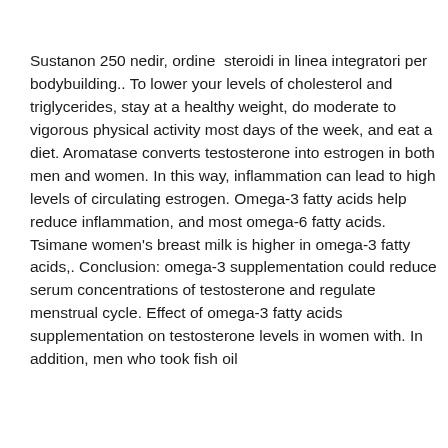Sustanon 250 nedir, ordine steroidi in linea integratori per bodybuilding.. To lower your levels of cholesterol and triglycerides, stay at a healthy weight, do moderate to vigorous physical activity most days of the week, and eat a diet. Aromatase converts testosterone into estrogen in both men and women. In this way, inflammation can lead to high levels of circulating estrogen. Omega-3 fatty acids help reduce inflammation, and most omega-6 fatty acids. Tsimane women's breast milk is higher in omega-3 fatty acids,. Conclusion: omega-3 supplementation could reduce serum concentrations of testosterone and regulate menstrual cycle. Effect of omega-3 fatty acids supplementation on testosterone levels in women with. In addition, men who took fish oil